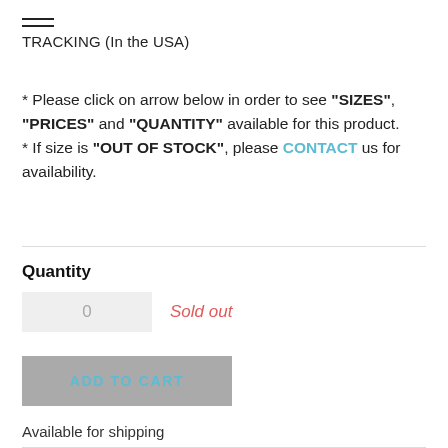TRACKING (In the USA)
* Please click on arrow below in order to see "SIZES", "PRICES" and "QUANTITY" available for this product. * If size is "OUT OF STOCK", please CONTACT us for availability.
Quantity
0   Sold out
ADD TO CART
Available for shipping